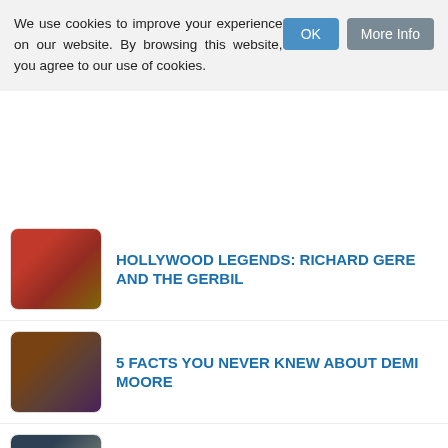We use cookies to improve your experience on our website. By browsing this website, you agree to our use of cookies.
HOLLYWOOD LEGENDS: RICHARD GERE AND THE GERBIL
5 FACTS YOU NEVER KNEW ABOUT DEMI MOORE
WAS STANLEY KUBRICK MURDERED?
HUNGER GAMES: MOCKINGJAY PART 3 CONFIRMED
SHARON STONE'S VAGINA IS REMASTERED BY THE BFI